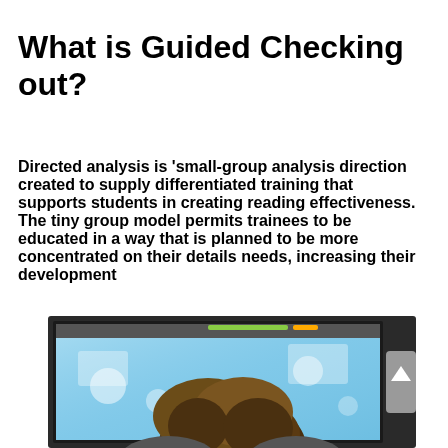What is Guided Checking out?
Directed analysis is 'small-group analysis direction created to supply differentiated training that supports students in creating reading effectiveness. The tiny group model permits trainees to be educated in a way that is planned to be more concentrated on their details needs, increasing their development
[Figure (photo): Child viewed from behind looking at a computer/tablet screen displaying colorful educational content]